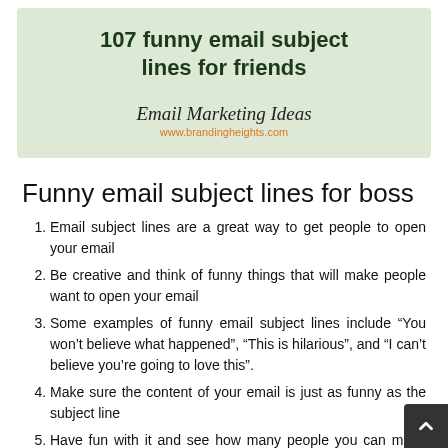[Figure (infographic): Green banner with title '107 funny email subject lines for friends' and 'Email Marketing Ideas / www.brandingheights.com' branding]
Funny email subject lines for boss
Email subject lines are a great way to get people to open your email
Be creative and think of funny things that will make people want to open your email
Some examples of funny email subject lines include “You won’t believe what happened”, “This is hilarious”, and “I can’t believe you’re going to love this”.
Make sure the content of your email is just as funny as the subject line
Have fun with it and see how many people you can make laugh with your emails